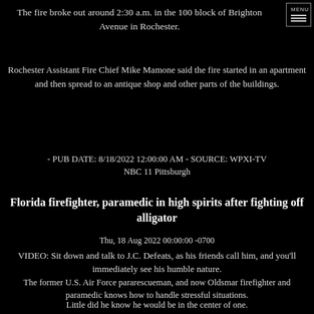The fire broke out around 2:30 a.m. in the 100 block of Brighton Avenue in Rochester.
Rochester Assistant Fire Chief Mike Mamone said the fire started in an apartment and then spread to an antique shop and other parts of the buildings.
- PUB DATE: 8/18/2022 12:00:00 AM - SOURCE: WPXI-TV NBC 11 Pittsburgh
Florida firefighter, paramedic in high spirits after fighting off alligator
Thu, 18 Aug 2022 00:00:00 -0700
VIDEO: Sit down and talk to J.C. Defeats, as his friends call him, and you'll immediately see his humble nature.
The former U.S. Air Force pararescueman, and now Oldsmar firefighter and paramedic knows how to handle stressful situations.
Little did he know he would be in the center of one.
"That thing was huge.
- PUB DATE: 8/18/2022 12:00:00 AM - SOURCE: WETS-TV